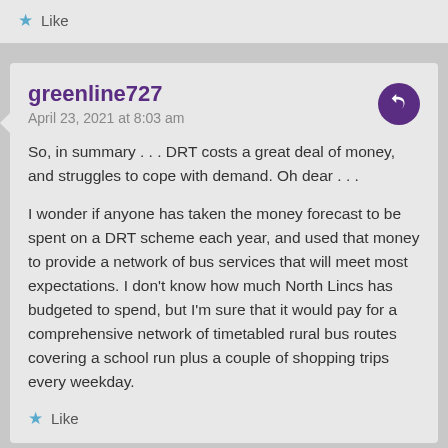Like
greenline727
April 23, 2021 at 8:03 am
So, in summary . . . DRT costs a great deal of money, and struggles to cope with demand. Oh dear . . .

I wonder if anyone has taken the money forecast to be spent on a DRT scheme each year, and used that money to provide a network of bus services that will meet most expectations. I don't know how much North Lincs has budgeted to spend, but I'm sure that it would pay for a comprehensive network of timetabled rural bus routes covering a school run plus a couple of shopping trips every weekday.
Like